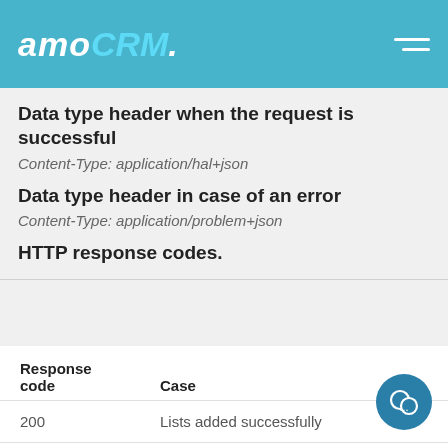amoCRM.
Data type header when the request is successful
Content-Type: application/hal+json
Data type header in case of an error
Content-Type: application/problem+json
HTTP response codes.
| Response code | Case |
| --- | --- |
| 200 | Lists added successfully |
| 403 | Insufficient rights to call this method |